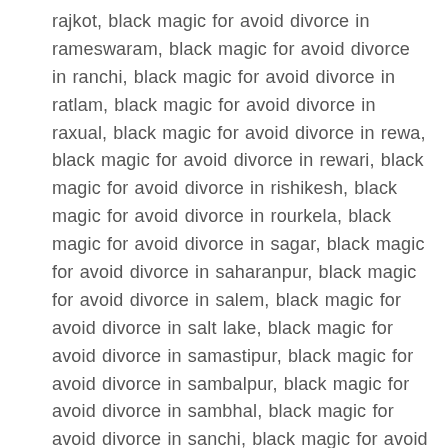rajkot, black magic for avoid divorce in rameswaram, black magic for avoid divorce in ranchi, black magic for avoid divorce in ratlam, black magic for avoid divorce in raxual, black magic for avoid divorce in rewa, black magic for avoid divorce in rewari, black magic for avoid divorce in rishikesh, black magic for avoid divorce in rourkela, black magic for avoid divorce in sagar, black magic for avoid divorce in saharanpur, black magic for avoid divorce in salem, black magic for avoid divorce in salt lake, black magic for avoid divorce in samastipur, black magic for avoid divorce in sambalpur, black magic for avoid divorce in sambhal, black magic for avoid divorce in sanchi, black magic for avoid divorce in sangareddy, black magic for avoid divorce in sangli, black magic for avoid divorce in sangrur, black magic for avoid divorce in sarnath, black magic for avoid divorce in sasaram, black magic for avoid divorce in satara, black magic for avoid divorce in satna, black magic for avoid divorce in secunderabad, black magic for avoid divorce in sehore, black magic for avoid divorce in serampore, black magic for avoid divorce in shillong, black magic for avoid divorce in shimla,